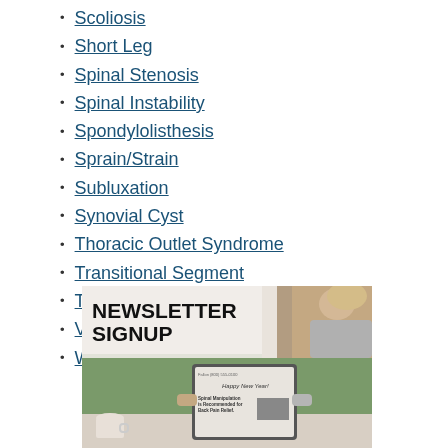Scoliosis
Short Leg
Spinal Stenosis
Spinal Instability
Spondylolisthesis
Sprain/Strain
Subluxation
Synovial Cyst
Thoracic Outlet Syndrome
Transitional Segment
Tropism
Viscerosomatic Disease
Whiplash
[Figure (photo): Newsletter signup banner with bold text 'NEWSLETTER SIGNUP' and a person using a tablet showing a chiropractic newsletter with 'Happy New Year!' headline and article 'Spinal Manipulation is Recommended for Back Pain Relief']